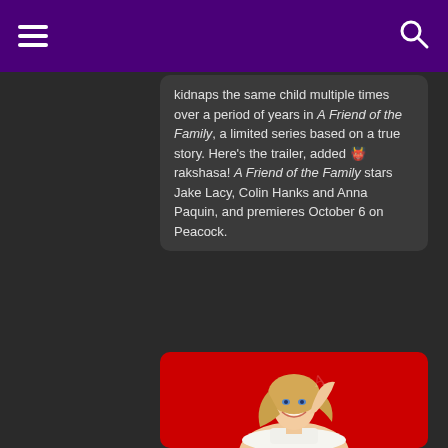Navigation header with hamburger menu and search icon
kidnaps the same child multiple times over a period of years in A Friend of the Family, a limited series based on a true story. Here’s the trailer, added 👹 rakshasa! A Friend of the Family stars Jake Lacy, Colin Hanks and Anna Paquin, and premieres October 6 on Peacock.
[Figure (photo): Vintage-style photo of a smiling blonde woman on a red background, holding a white hat, with her arm raised]